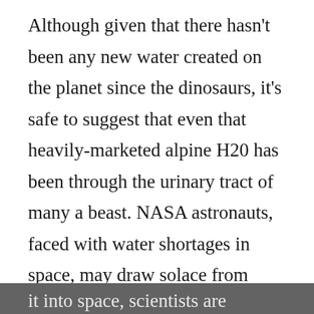Although given that there hasn't been any new water created on the planet since the dinosaurs, it's safe to suggest that even that heavily-marketed alpine H20 has been through the urinary tract of many a beast. NASA astronauts, faced with water shortages in space, may draw solace from such reflections.
On the less glamorous side of space exploration, there's the more practical problem of waste — in particular, what to do with astronaut pee. But rather than ejecting it into space, scientists are developing a new